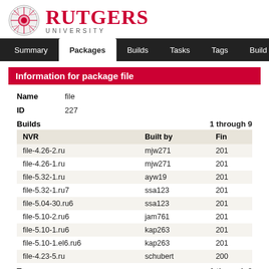[Figure (logo): Rutgers University logo with circular seal and red text]
Summary | Packages | Builds | Tasks | Tags | Build Targ...
Information for package file
Name   file
ID   227
Builds   1 through 9
| NVR | Built by | Fin... |
| --- | --- | --- |
| file-4.26-2.ru | mjw271 | 201 |
| file-4.26-1.ru | mjw271 | 201 |
| file-5.32-1.ru | ayw19 | 201 |
| file-5.32-1.ru7 | ssa123 | 201 |
| file-5.04-30.ru6 | ssa123 | 201 |
| file-5.10-2.ru6 | jam761 | 201 |
| file-5.10-1.ru6 | kap263 | 201 |
| file-5.10-1.el6.ru6 | kap263 | 201 |
| file-4.23-5.ru | schubert | 200 |
Tags   1 through 3